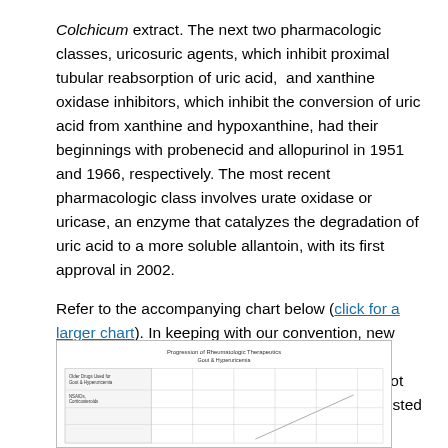Colchicum extract. The next two pharmacologic classes, uricosuric agents, which inhibit proximal tubular reabsorption of uric acid, and xanthine oxidase inhibitors, which inhibit the conversion of uric acid from xanthine and hypoxanthine, had their beginnings with probenecid and allopurinol in 1951 and 1966, respectively. The most recent pharmacologic class involves urate oxidase or uricase, an enzyme that catalyzes the degradation of uric acid to a more soluble allantoin, with its first approval in 2002.
Refer to the accompanying chart below (click for a larger chart). In keeping with our convention, new formulations of approved drugs and new combinations of previously approved drugs are not included. The new molecule drug approvals are listed below:
[Figure (other): Thumbnail image of a chart titled 'Progression of Rheumatologic Therapeutics: Gout & Hyperuricemia' showing a timeline grid with drug categories listed on the left including 'Older Drugs Used for Gout & Hyperuricemia' and 'NSAIDs, Corticosteroids'.]